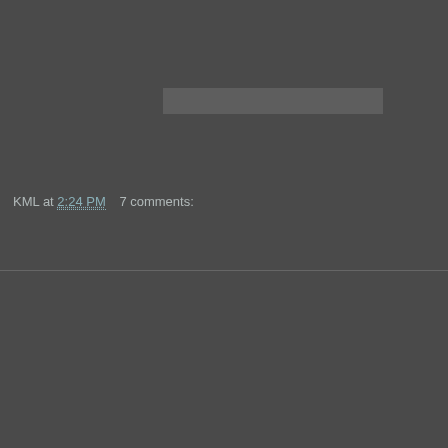[Figure (other): Placeholder gray bar representing an image or embedded content area]
KML at 2:24 PM    7 comments:
Share
Thursday, March 26, 2009
Something New and Different
Something New and Different